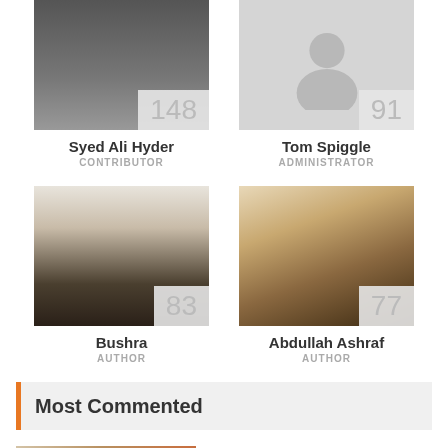[Figure (photo): Profile photo of Syed Ali Hyder with score badge 148]
Syed Ali Hyder
CONTRIBUTOR
[Figure (photo): Placeholder silhouette avatar for Tom Spiggle with score badge 91]
Tom Spiggle
ADMINISTRATOR
[Figure (photo): Profile photo of Bushra with score badge 83]
Bushra
AUTHOR
[Figure (photo): Profile photo of Abdullah Ashraf with score badge 77]
Abdullah Ashraf
AUTHOR
Most Commented
[Figure (photo): Thumbnail image of mushrooms/pumpkin seeds with upward chevron overlay]
9 Strange Side Effects Of Pumpkin Seeds & Apple Seeds Is Poisonous Or Not?